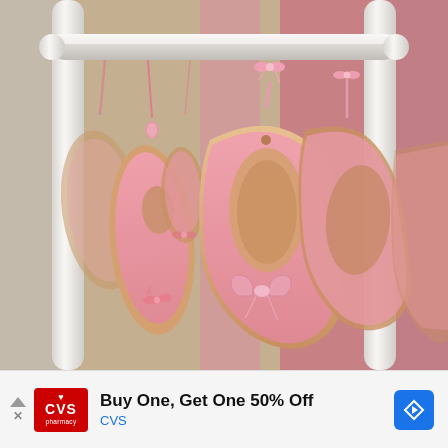[Figure (photo): Photo of decorated sugar cookies shaped like ballet slipper / pointe shoe, frosted in pink with bow details and small pink ribbon bows, hanging from a white rack or stand by pink ribbons. Multiple cookies visible at varying depths/focus. Background is pink and warm beige tones.]
[Figure (infographic): Advertisement banner for CVS pharmacy. Contains CVS logo (red box with heart and pharmacy text), text 'Buy One, Get One 50% Off' in bold, 'CVS' in blue beneath, navigation arrows on left, and blue diamond arrow icon on right.]